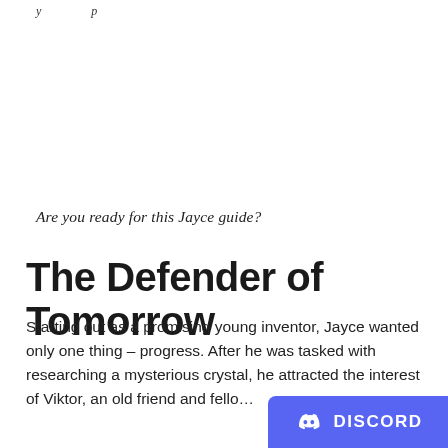y ... p
Are you ready for this Jayce guide?
The Defender of Tomorrow
Starting out as a promising young inventor, Jayce wanted only one thing – progress. After he was tasked with researching a mysterious crystal, he attracted the interest of Viktor, an old friend and fello...
[Figure (logo): Discord badge/button in bottom-right corner with Discord logo and text 'DISCORD' in white on purple background]